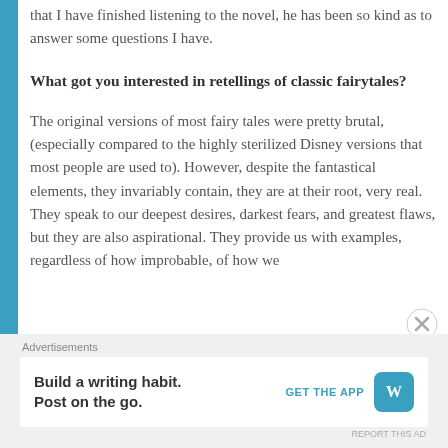that I have finished listening to the novel, he has been so kind as to answer some questions I have.
What got you interested in retellings of classic fairytales?
The original versions of most fairy tales were pretty brutal, (especially compared to the highly sterilized Disney versions that most people are used to). However, despite the fantastical elements, they invariably contain, they are at their root, very real. They speak to our deepest desires, darkest fears, and greatest flaws, but they are also aspirational. They provide us with examples, regardless of how improbable, of how we
Advertisements
Build a writing habit. Post on the go. GET THE APP